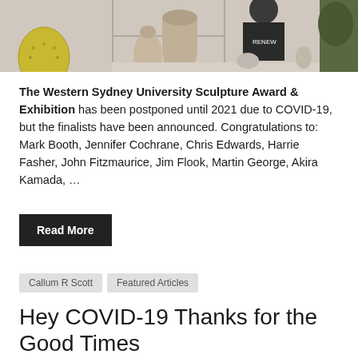[Figure (photo): A person working at a pottery wheel with clay vases and pots on shelves in a studio.]
The Western Sydney University Sculpture Award & Exhibition has been postponed until 2021 due to COVID-19, but the finalists have been announced. Congratulations to: Mark Booth, Jennifer Cochrane, Chris Edwards, Harrie Fasher, John Fitzmaurice, Jim Flook, Martin George, Akira Kamada, …
Read More
Callum R Scott | Featured Articles
Hey COVID-19 Thanks for the Good Times
June 1, 2020 | troublemag
[Figure (photo): A close-up image of red COVID-19 virus particles on a light background.]